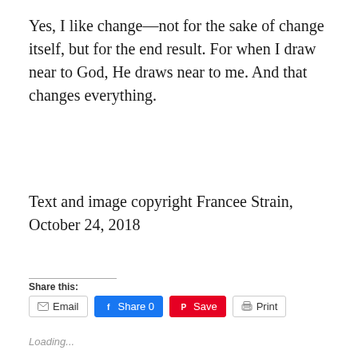Yes, I like change—not for the sake of change itself, but for the end result. For when I draw near to God, He draws near to me. And that changes everything.
Text and image copyright Francee Strain, October 24, 2018
Share this:
Email  Share 0  Save  Print
Loading...